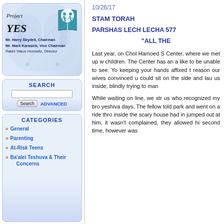[Figure (logo): Project YES logo with two figures inside a book-shaped teal icon, on a blue gradient background. Text below: Mr. Harry Skydell, Chairman; Mr. Mark Karasick, Vice Chairman; Rabbi Yakov Horowitz, Director]
Mr. Harry Skydell, Chairman
Mr. Mark Karasick, Vice Chairman
Rabbi Yakov Horowitz, Director
SEARCH
Search | ADVANCED
CATEGORIES
General
Parenting
At-Risk Teens
Ba'alei Teshuva & Their Concerns
10/26/17
STAM TORAH
PARSHAS LECH LECHA 577
“ALL THE
Last year, on Chol Hamoed S Center, where we met up w children. The Center has an a like to be unable to see. Yo keeping your hands affixed t reason our wives convinced u could sit on the side and lau us inside, blindly trying to man
While waiting on line, we str us who recognized my bro yeshiva days. The fellow told park and went on a ride thro inside the scary house had in jumped out at him, it wasn't complained, they allowed hi second time, however was